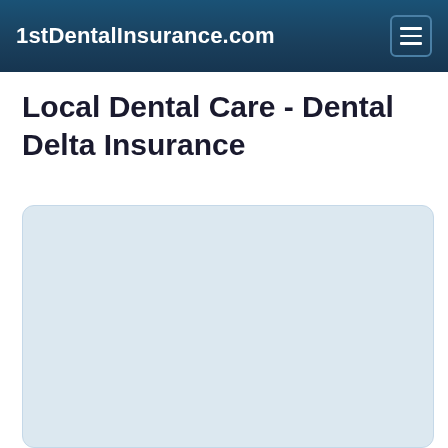1stDentalInsurance.com
Local Dental Care - Dental Delta Insurance
[Figure (other): Light blue-gray rounded rectangle content box placeholder area]